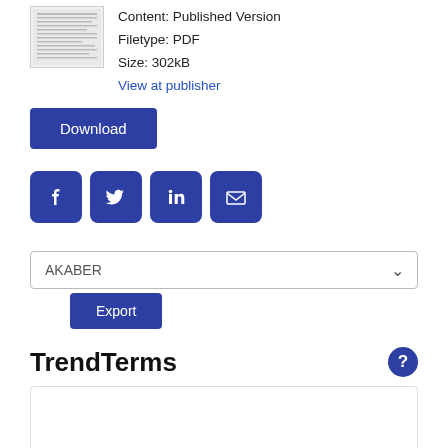[Figure (screenshot): Thumbnail image of a PDF document page showing dense text content]
Content: Published Version
Filetype: PDF
Size: 302kB
View at publisher
[Figure (screenshot): Download button (blue rounded rectangle with white text 'Download')]
[Figure (screenshot): Social media share icons: Facebook, Twitter, LinkedIn, Email — all blue rounded squares]
[Figure (screenshot): Export dropdown selector showing 'AKABER' with chevron, and blue Export button below]
TrendTerms
[Figure (screenshot): Empty white box with border below TrendTerms heading]